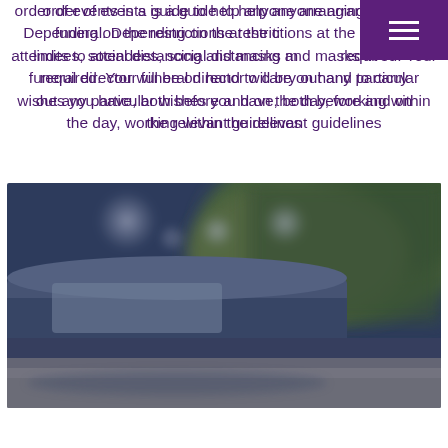order of events is a guide to help anyone arranging a funeral. Depending on the restrictions at the time, limits to attendees, social distancing and masks may be required. Your funeral director will be on hand to carry out any particular wishes you have, both before and on the day, working within the relevant guidelines
[Figure (photo): A blurred outdoor photograph showing what appears to be a dark-coloured hearse or funeral car on a road, with green foliage/trees visible in the background and some blurred bokeh light effects in the upper portion.]